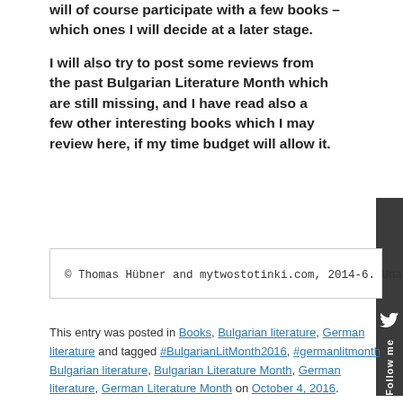will of course participate with a few books – which ones I will decide at a later stage.
I will also try to post some reviews from the past Bulgarian Literature Month which are still missing, and I have read also a few other interesting books which I may review here, if my time budget will allow it.
© Thomas Hübner and mytwostotinki.com, 2014-6. Unau
This entry was posted in Books, Bulgarian literature, German literature and tagged #BulgarianLitMonth2016, #germanlitmonth, Bulgarian literature, Bulgarian Literature Month, German literature, German Literature Month on October 4, 2016.